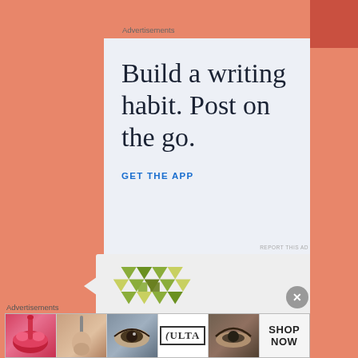Advertisements
[Figure (other): WordPress mobile app advertisement with text 'Build a writing habit. Post on the go.' and 'GET THE APP' call-to-action button, with WordPress 'W' logo icon]
REPORT THIS
[Figure (logo): Second advertisement block showing a mosaic/triangulated pattern logo in green and olive colors]
Advertisements
[Figure (other): Ulta Beauty banner advertisement showing cosmetics product photos — lips with lipstick, makeup brush, eye makeup, Ulta logo, eye shadow, and SHOP NOW text]